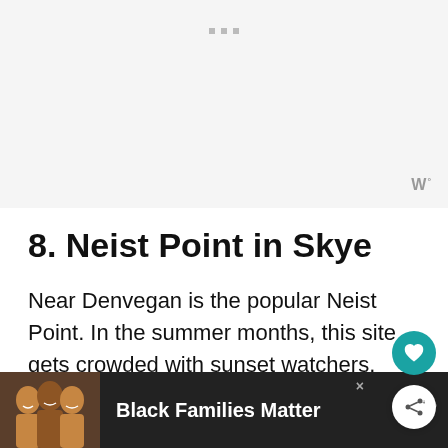[Figure (other): Advertisement banner placeholder with dots indicator and wordmark watermark]
8. Neist Point in Skye
Near Denvegan is the popular Neist Point. In the summer months, this site gets crowded with sunset watchers. High cliffs jut out at a sloping angle, before flattening out near the
[Figure (photo): Bottom advertisement banner: Black Families Matter with photo of smiling family]